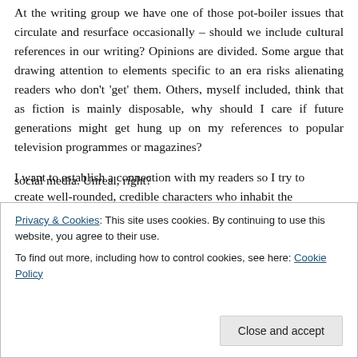At the writing group we have one of those pot-boiler issues that circulate and resurface occasionally – should we include cultural references in our writing? Opinions are divided. Some argue that drawing attention to elements specific to an era risks alienating readers who don't 'get' them. Others, myself included, think that as fiction is mainly disposable, why should I care if future generations might get hung up on my references to popular television programmes or magazines?
I want to establish a connection with my readers so I try to create well-rounded, credible characters who inhabit the
social media. Unreal, right?
Privacy & Cookies: This site uses cookies. By continuing to use this website, you agree to their use. To find out more, including how to control cookies, see here: Cookie Policy